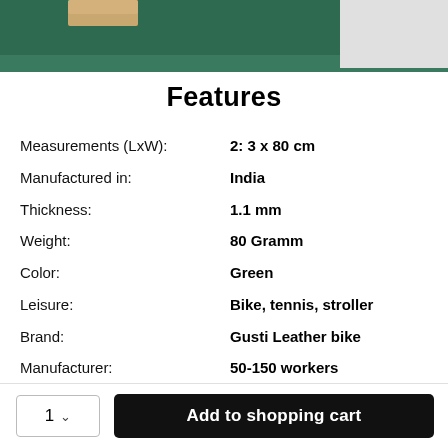[Figure (photo): Top portion of a green leather strap product with tan/wood accent, partially visible at top of page]
Features
| Attribute | Value |
| --- | --- |
| Measurements (LxW): | 2: 3 x 80 cm |
| Manufactured in: | India |
| Thickness: | 1.1 mm |
| Weight: | 80 Gramm |
| Color: | Green |
| Leisure: | Bike, tennis, stroller |
| Brand: | Gusti Leather bike |
| Manufacturer: | 50-150 workers |
| Leather type: | Cowhide |
1  ∨  Add to shopping cart